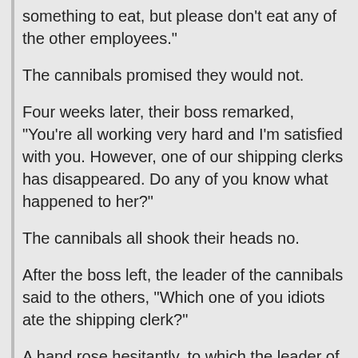something to eat, but please don't eat any of the other employees."
The cannibals promised they would not.
Four weeks later, their boss remarked, "You're all working very hard and I'm satisfied with you. However, one of our shipping clerks has disappeared. Do any of you know what happened to her?"
The cannibals all shook their heads no.
After the boss left, the leader of the cannibals said to the others, "Which one of you idiots ate the shipping clerk?"
A hand rose hesitantly, to which the leader of the cannibals continued, "You fool --- for 4 weeks we've